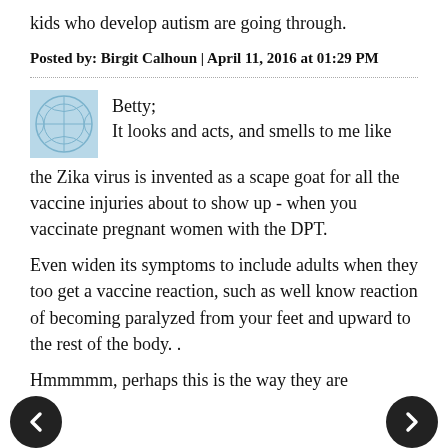kids who develop autism are going through.
Posted by: Birgit Calhoun | April 11, 2016 at 01:29 PM
Betty;
It looks and acts, and smells to me like the Zika virus is invented as a scape goat for all the vaccine injuries about to show up - when you vaccinate pregnant women with the DPT.

Even widen its symptoms to include adults when they too get a vaccine reaction, such as well know reaction of becoming paralyzed from your feet and upward to the rest of the body. .

Hmmmmm, perhaps this is the way they are